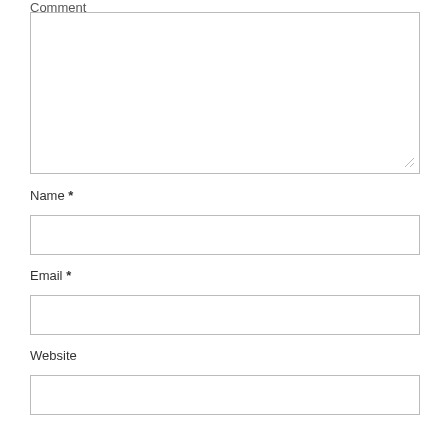Comment
[Figure (other): Large textarea input box for comment, with resize handle at bottom-right corner]
Name *
[Figure (other): Single-line text input box for Name field]
Email *
[Figure (other): Single-line text input box for Email field]
Website
[Figure (other): Single-line text input box for Website field (partially visible)]